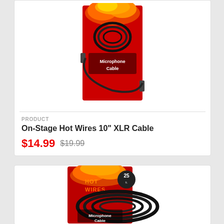[Figure (photo): On-Stage Hot Wires 10 inch XLR Microphone Cable product image on red flame packaging card with coiled black cable]
PRODUCT
On-Stage Hot Wires 10" XLR Cable
$14.99 $19.99
[Figure (photo): On-Stage Hot Wires 25ft XLR Microphone Cable product image on red flame packaging card with coiled black cable, Hot Wires logo visible]